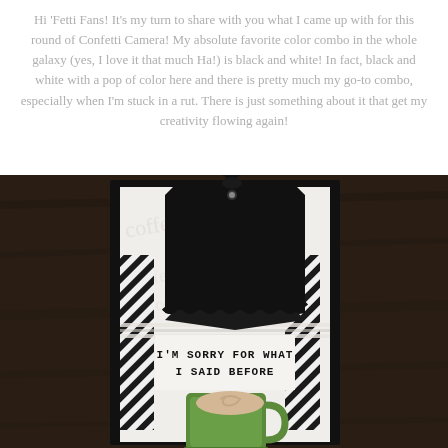Hi 'Fetti Fans! It's my turn to share with you what I came up with for this round of Confetti Camera! My absolute favorite color combo in the whole galaxy (yes, I love it that much Ha!) is black and white! In fact, black and white with a pop of color here and there is pretty much my go-to combo, especially when I'm stuck in a rut. There is just something about it that get my creativity flowing again!
[Figure (photo): A crafted greeting card with black and white design. The card features a black tag with a tassel at the top, decorative black and white striped elements and twine, the text 'I'M SORRY FOR WHAT I SAID BEFORE' stamped in black, and a green coffee mug with latte art at the bottom. Background has soft 'coffee' text watermark.]